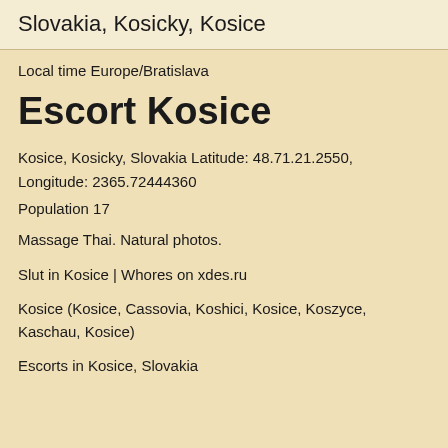Slovakia, Kosicky, Kosice
Local time Europe/Bratislava
Escort Kosice
Kosice, Kosicky, Slovakia Latitude: 48.71.21.2550, Longitude: 2365.72444360
Population 17
Massage Thai. Natural photos.
Slut in Kosice | Whores on xdes.ru
Kosice (Kosice, Cassovia, Koshici, Kosice, Koszyce, Kaschau, Kosice)
Escorts in Kosice, Slovakia